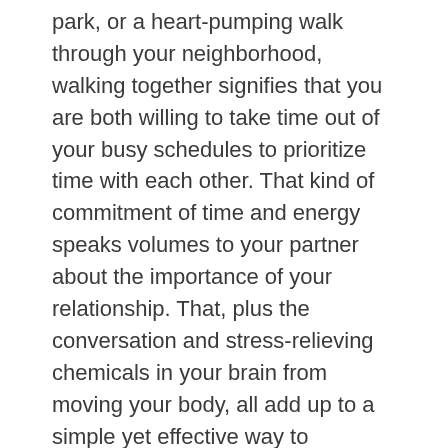park, or a heart-pumping walk through your neighborhood, walking together signifies that you are both willing to take time out of your busy schedules to prioritize time with each other. That kind of commitment of time and energy speaks volumes to your partner about the importance of your relationship. That, plus the conversation and stress-relieving chemicals in your brain from moving your body, all add up to a simple yet effective way to connect.
Speaking of getting away from distractions at home, how about spending less time engaging with electronics over people? We are all guilty in one form or another: news followers, social media addicts, recipe hounds, text warriors, video game aficionados, streaming media binge viewers, or constantly accessible workaholics." Electronics can be a fun way to pass some free time, or they can become a